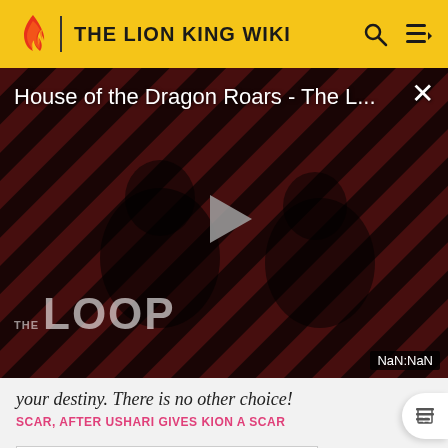THE LION KING WIKI
[Figure (screenshot): Video player showing 'House of the Dragon Roars - The L...' with a play button in center, striped red/dark background, THE LOOP watermark, and NaN:NaN timestamp badge]
your destiny. There is no other choice!
SCAR, AFTER USHARI GIVES KION A SCAR